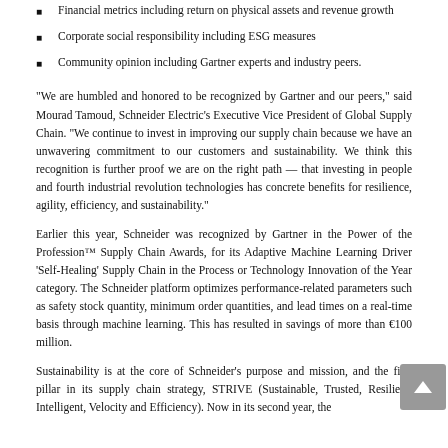Financial metrics including return on physical assets and revenue growth
Corporate social responsibility including ESG measures
Community opinion including Gartner experts and industry peers.
“We are humbled and honored to be recognized by Gartner and our peers,” said Mourad Tamoud, Schneider Electric’s Executive Vice President of Global Supply Chain. “We continue to invest in improving our supply chain because we have an unwavering commitment to our customers and sustainability. We think this recognition is further proof we are on the right path — that investing in people and fourth industrial revolution technologies has concrete benefits for resilience, agility, efficiency, and sustainability.”
Earlier this year, Schneider was recognized by Gartner in the Power of the Profession™ Supply Chain Awards, for its Adaptive Machine Learning Driver ‘Self-Healing’ Supply Chain in the Process or Technology Innovation of the Year category. The Schneider platform optimizes performance-related parameters such as safety stock quantity, minimum order quantities, and lead times on a real-time basis through machine learning. This has resulted in savings of more than €100 million.
Sustainability is at the core of Schneider’s purpose and mission, and the first pillar in its supply chain strategy, STRIVE (Sustainable, Trusted, Resilient, Intelligent, Velocity and Efficiency). Now in its second year, the